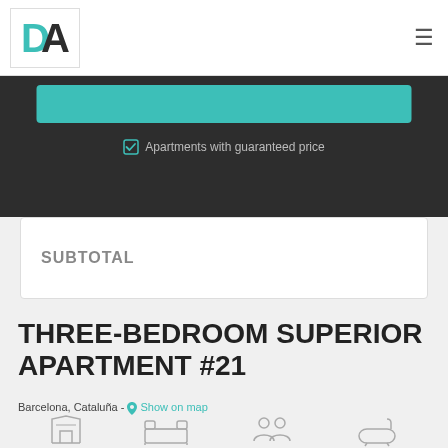DA logo and navigation hamburger menu
Apartments with guaranteed price
SUBTOTAL
THREE-BEDROOM SUPERIOR APARTMENT #21
Barcelona, Cataluña - Show on map
Sqm 70 | Bedroom 3 | Guest 6 | Bathroom 1